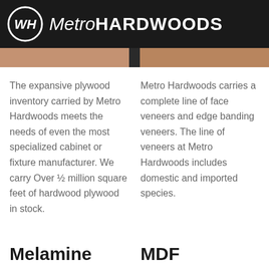[Figure (logo): Metro Hardwoods logo: white circular WH emblem on black background with 'MetroHARDWOODS' text in white]
[Figure (photo): Image strip showing wood product photographs in brown/tan tones]
The expansive plywood inventory carried by Metro Hardwoods meets the needs of even the most specialized cabinet or fixture manufacturer. We carry Over ½ million square feet of hardwood plywood in stock.
Metro Hardwoods carries a complete line of face veneers and edge banding veneers. The line of veneers at Metro Hardwoods includes domestic and imported species.
Melamine
MDF